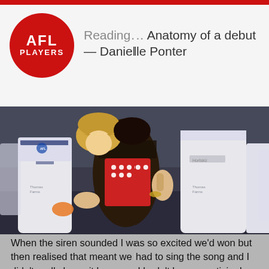Reading… Anatomy of a debut — Danielle Ponter
[Figure (photo): Group of female AFL players in white and blue/red jerseys huddled together, appearing to celebrate after a match]
When the siren sounded I was so excited we'd won but then realised that meant we had to sing the song and I didn't really know it because I hadn't been practising!
I stood in the middle of the circle, with all the girls around us, but tried to hide from the camera so they didn't realise I wasn't singing.
It was such an incredible feeling to stand in the circle and